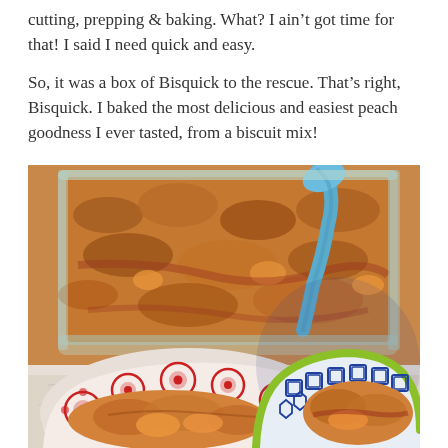cutting, prepping & baking. What? I ain't got time for that! I said I need quick and easy.
So, it was a box of Bisquick to the rescue. That's right, Bisquick. I baked the most delicious and easiest peach goodness I ever tasted, from a biscuit mix!
[Figure (photo): A baked peach cobbler in a glass baking dish with a blue spoon, served into two decorative bowls — one with a red floral pattern and one with a blue geometric pattern — resting on a marble surface.]